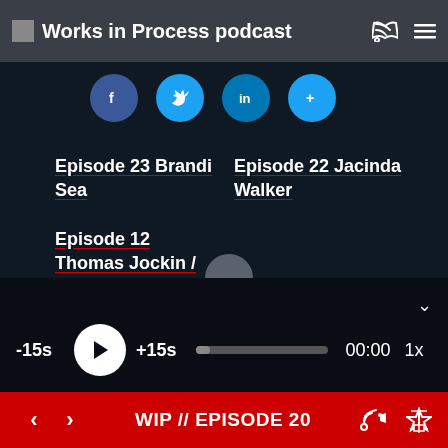Works in Process podcast
Episode 23 Brandi Sea
Episode 22 Jacinda Walker
Episode 12 Thomas Jockin / Type Thursday
-15s  +15s  00:00  1x
WIP // EPISODE 20